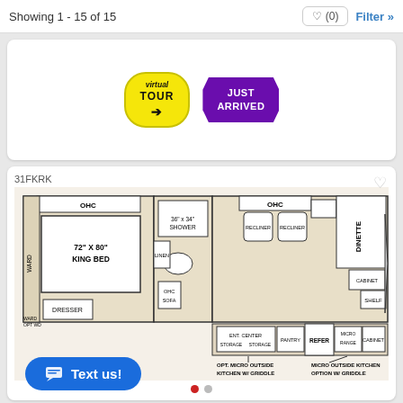Showing 1 - 15 of 15
[Figure (screenshot): Virtual Tour badge (yellow oval with arrow) and Just Arrived badge (purple starburst)]
31FKRK
[Figure (engineering-diagram): RV floor plan for model 31FKRK showing King Bed (72x80), OHC overhead cabinets, recliner chairs, dinette, refer, pantry, entertainment center, wardrobes, dresser, bathroom, sofa, and optional micro outside kitchen with griddle options]
OPT. MICRO OUTSIDE KITCHEN W/ GRIDDLE | MICRO OUTSIDE KITCHEN OPTION W/ GRIDDLE
Text us!